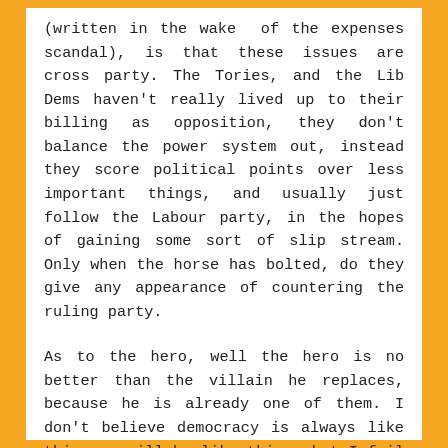(written in the wake of the expenses scandal), is that these issues are cross party. The Tories, and the Lib Dems haven't really lived up to their billing as opposition, they don't balance the power system out, instead they score political points over less important things, and usually just follow the Labour party, in the hopes of gaining some sort of slip stream. Only when the horse has bolted, do they give any appearance of countering the ruling party.
As to the hero, well the hero is no better than the villain he replaces, because he is already one of them. I don't believe democracy is always like this, or will be like this – but I fail to see, from the current crop of choices, any serious difference, certainly not for the better.